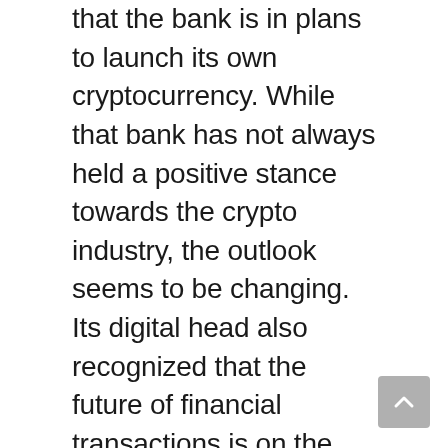that the bank is in plans to launch its own cryptocurrency. While that bank has not always held a positive stance towards the crypto industry, the outlook seems to be changing. Its digital head also recognized that the future of financial transactions is on the blockchain network.
The leading bank, JP Morgan, has also developed its plans of building a digital currency- JPM coin. Moreover, the bank has integrated with various blockchain initiatives to facilitate financial and banking services. Additionally, the onset of giants into this sector will give a push for mainstream adoption in virtual currencies. Financial players like Visa, Mastercard, and PayPal have also started the development of